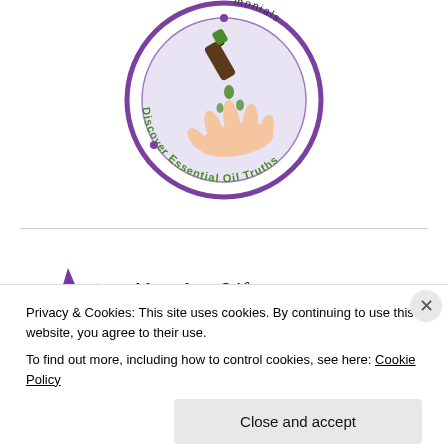[Figure (logo): Circular logo with text 'Discover Essential Oil Truths' and '...monials' around the border, with a hand receiving drops of essential oil in the center. Purple circle border.]
[Figure (logo): Abundant Life Wellness Center logo — purple mountain/map shape on left, with serif text 'Abundant Life Wellness Center' and smaller spaced text 'A HOLISTIC HEALTH CENTER' below a horizontal rule.]
Privacy & Cookies: This site uses cookies. By continuing to use this website, you agree to their use.
To find out more, including how to control cookies, see here: Cookie Policy
Close and accept